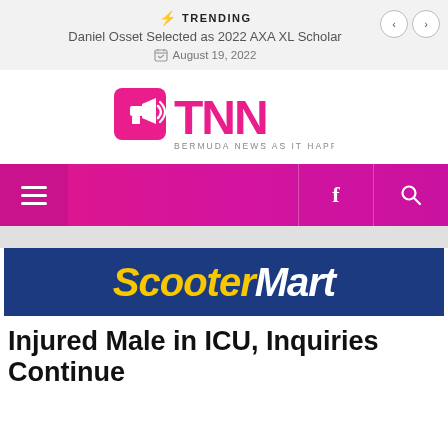TRENDING — Daniel Osset Selected as 2022 AXA XL Scholar — August 19, 2022
[Figure (logo): TNN Bermuda News As It Happens logo in pink/magenta]
[Figure (other): Pink gradient navigation bar with hamburger menu, Facebook icon, and search icon]
[Figure (other): ScooterMart advertisement banner with dark blue background and yellow/white italic text]
Injured Male in ICU, Inquiries Continue